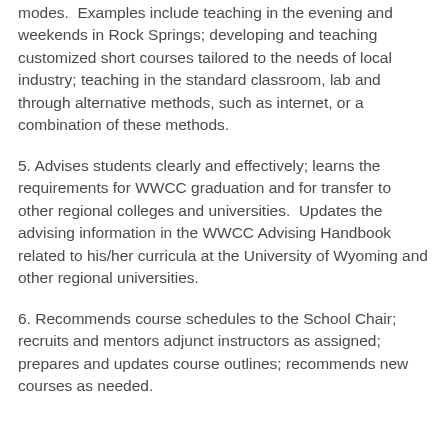modes.  Examples include teaching in the evening and weekends in Rock Springs; developing and teaching customized short courses tailored to the needs of local industry; teaching in the standard classroom, lab and through alternative methods, such as internet, or a combination of these methods.
5. Advises students clearly and effectively; learns the requirements for WWCC graduation and for transfer to other regional colleges and universities.  Updates the advising information in the WWCC Advising Handbook related to his/her curricula at the University of Wyoming and other regional universities.
6. Recommends course schedules to the School Chair; recruits and mentors adjunct instructors as assigned; prepares and updates course outlines; recommends new courses as needed.